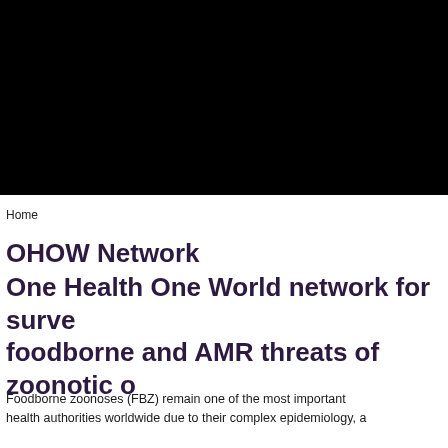[Figure (photo): Black banner image spanning the top portion of the page, likely a header photograph for the OHOW Network website, displayed as a solid black rectangle.]
Home
OHOW Network
One Health One World network for surveillance of foodborne and AMR threats of zoonotic origin
Foodborne zoonoses (FBZ) remain one of the most important health authorities worldwide due to their complex epidemiology, a